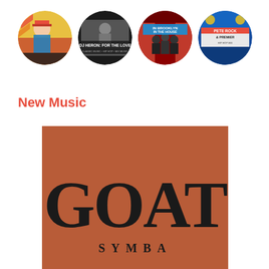[Figure (illustration): Four circular album art thumbnails in a row: (1) colorful hip-hop artist image, (2) 'DJ Heron: For The Love' black and white mixtape cover, (3) 'In Brooklyn In The House' red themed cover, (4) 'Pete Rock & Premo' blue themed cover]
New Music
[Figure (illustration): GOAT album cover by Symba - burnt orange/terracotta background with large serif text 'GOAT' and below it 'SYMBA' in spaced capitals]